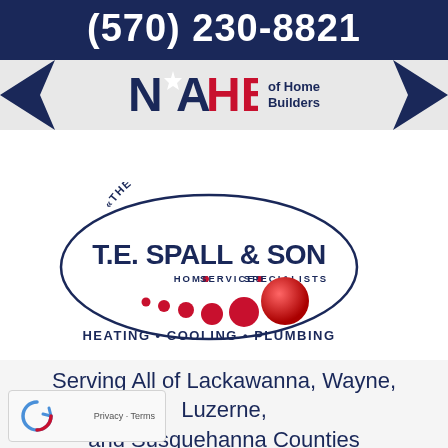(570) 230-8821
[Figure (logo): NAHB (National Association of Home Builders) logo with decorative star-arrow shapes on left and right sides]
[Figure (logo): T.E. Spall & Son logo - oval shaped logo with text 'The Comfort Doctors', 'T.E. SPALL & SON', 'HOME SERVICES SPECIALISTS', and 'HEATING · COOLING · PLUMBING' with red dot design elements]
Serving All of Lackawanna, Wayne, Luzerne, and Susquehanna Counties
[Figure (other): reCAPTCHA widget with recycling arrows icon and Privacy / Terms links]